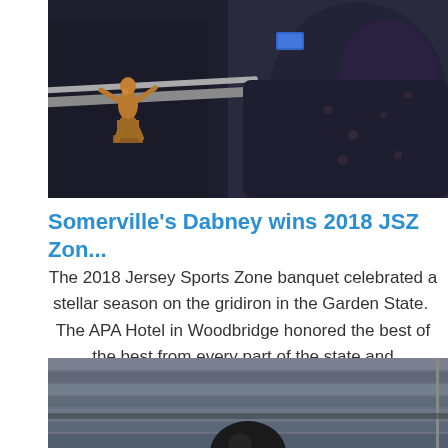[Figure (photo): A person at a podium or event holding or near a bronze athletic trophy figurine, wearing a dark jacket, photographed at the 2018 JSZ Zone banquet]
Somerville's Dabney wins 2018 JSZ Zon...
The 2018 Jersey Sports Zone banquet celebrated a stellar season on the gridiron in the Garden State.  The APA Hotel in Woodbridge honored the best of the best from every part of the state and
[Figure (photo): A person photographed from behind or at low angle, with bleacher-style seating or wall visible in background]